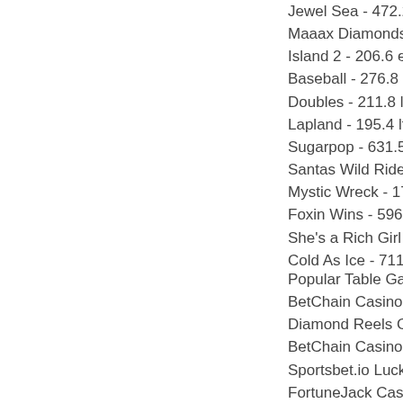Jewel Sea - 472.2 ltc
Maaax Diamonds - 6
Island 2 - 206.6 eth
Baseball - 276.8 dog
Doubles - 211.8 ltc
Lapland - 195.4 ltc
Sugarpop - 631.5 btc
Santas Wild Ride - 5
Mystic Wreck - 17.2 b
Foxin Wins - 596 btc
She's a Rich Girl - 41
Cold As Ice - 711.4 b
Popular Table Game
BetChain Casino Ge
Diamond Reels Casi
BetChain Casino Re
Sportsbet.io Lucky C
FortuneJack Casino
CryptoWild Casino G
BetChain Casino Mi